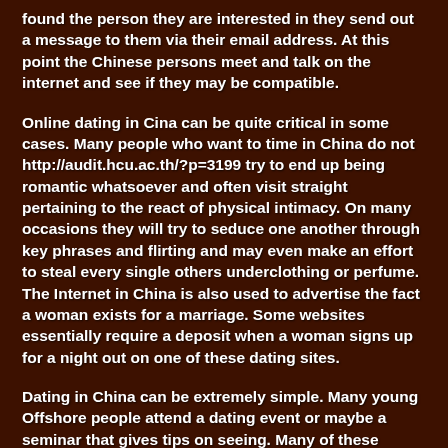found the person they are interested in they send out a message to them via their email address. At this point the Chinese persons meet and talk on the internet and see if they may be compatible.
Online dating in Cina can be quite critical in some cases. Many people who want to time in China do not http://audit.hcu.ac.th/?p=3199 try to end up being romantic whatsoever and often visit straight pertaining to the react of physical intimacy. On many occasions they will try to seduce one another through key phrases and flirting and may even make an effort to steal every single others underclothing or perfume. The Internet in China is also used to advertise the fact a woman exists for a marriage. Some websites essentially require a deposit when a woman signs up for a night out on one of these dating sites.
Dating in China can be extremely simple. Many young Offshore people attend a dating event or maybe a seminar that gives tips on seeing. Many of these workshops mail order bride deliver basic techniques to use the Internet to look for a